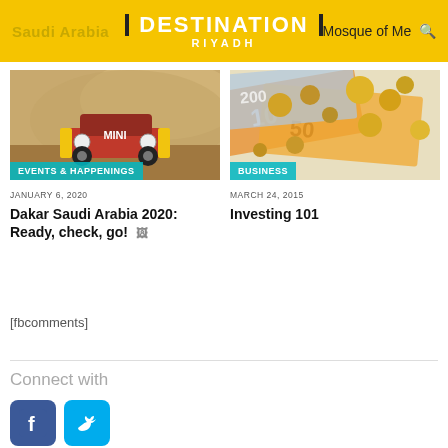Saudi Arabia  DESTINATION RIYADH  Mosque of Me...
[Figure (photo): Red MINI off-road rally car driving through sandy desert terrain with dust clouds]
EVENTS & HAPPENINGS
JANUARY 6, 2020
Dakar Saudi Arabia 2020: Ready, check, go!
[Figure (photo): Euro banknotes and coins scattered on a surface, depicting money/business/finance theme]
BUSINESS
MARCH 24, 2015
Investing 101
[fbcomments]
Connect with